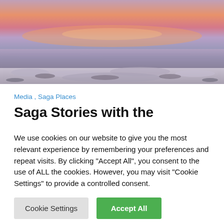[Figure (photo): Panoramic landscape photo of an Icelandic coastal scene at sunset/dusk with pink and orange sky reflected in calm water, with icy or rocky terrain in the foreground.]
Media , Saga Places
Saga Stories with the Reykjavík Grapevine: Njáls saga
21/02/2021   By Matthew Roby   4 Min Reading
We use cookies on our website to give you the most relevant experience by remembering your preferences and repeat visits. By clicking "Accept All", you consent to the use of ALL the cookies. However, you may visit "Cookie Settings" to provide a controlled consent.
Cookie Settings   Accept All